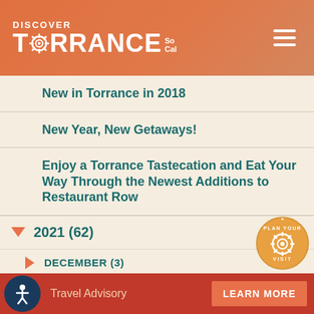DISCOVER TORRANCE SoCal
New in Torrance in 2018
New Year, New Getaways!
Enjoy a Torrance Tastecation and Eat Your Way Through the Newest Additions to Restaurant Row
2021 (62)
DECEMBER (3)
NOVEMBER (3)
OCTOBER (2)
SEPTEMBER (5)
AUGUST (4)
JULY (6)
JUNE (6)
Travel Advisory LEARN MORE